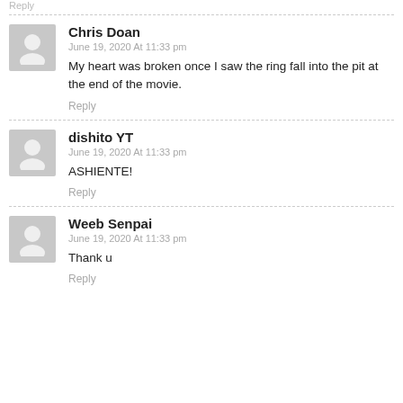Reply
Chris Doan
June 19, 2020 At 11:33 pm
My heart was broken once I saw the ring fall into the pit at the end of the movie.
Reply
dishito YT
June 19, 2020 At 11:33 pm
ASHIENTE!
Reply
Weeb Senpai
June 19, 2020 At 11:33 pm
Thank u
Reply